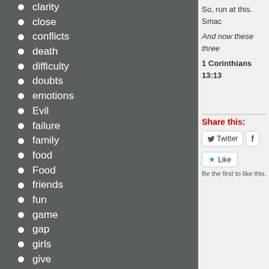clarity
close
conflicts
death
difficulty
doubts
emotions
Evil
failure
family
food
Food
friends
fun
game
gap
girls
give
god
goodness
So, run at this. Smac
And now these three
1 Corinthians 13:13
Share this:
Twitter
Like
Be the first to like this.